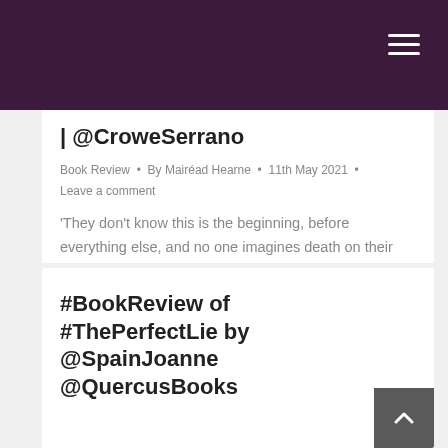| @CroweSerrano
Book Review  •  By Mairéad Hearne  •  11th May 2021  •
Leave a comment
'They don't know this is the beginning, before everything else, and no one imagines death on their doorstep'– In The Dark [ About the Book ] Teruel, north-east Spain, winter, 1937. The civil war is raging, pitting neighbour against neighbour, tearing families apart. Franco's Nationalist rebels have surrounded the devastated, Republican-held city. The people are…
#BookReview of #ThePerfectLie by @SpainJoanne @QuercusBooks